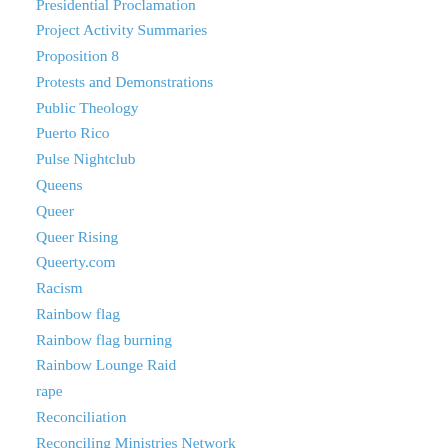Presidential Proclamation
Project Activity Summaries
Proposition 8
Protests and Demonstrations
Public Theology
Puerto Rico
Pulse Nightclub
Queens
Queer
Queer Rising
Queerty.com
Racism
Rainbow flag
Rainbow flag burning
Rainbow Lounge Raid
rape
Reconciliation
Reconciling Ministries Network
Religious Freedom Restoration Act (RFRA)
religious hate speech